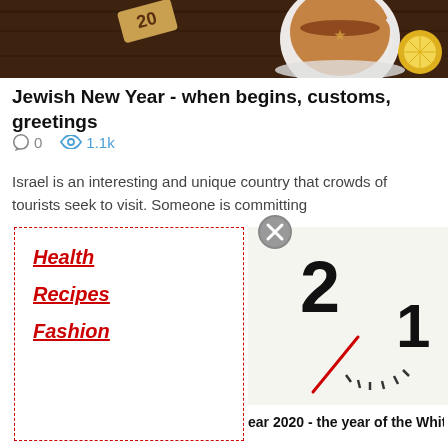[Figure (photo): Top banner image showing a tea cup with a lemon slice and wooden tag with '20' on a dark wooden background]
Jewish New Year - when begins, customs, greetings
0   1.1k
Israel is an interesting and unique country that crowds of tourists seek to visit. Someone is committing
Health
Recipes
Fashion
[Figure (photo): Close-up of a clock face showing numbers 1 and 2 with minute marks, clock hands visible]
ear 2020 - the year of the White